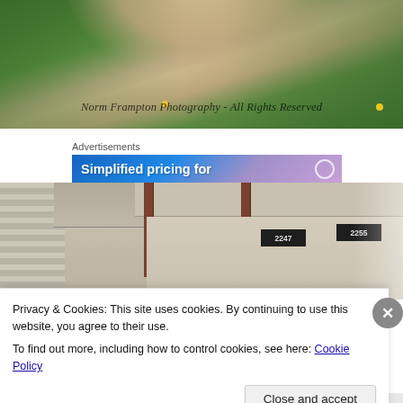[Figure (photo): Outdoor pathway flanked by green grass, leading toward a horizon. Watermark text reads 'Norm Frampton Photography - All Rights Reserved']
Advertisements
[Figure (screenshot): Blue-to-purple gradient advertisement banner with text 'Simplified pricing for' and a circular icon on the right]
[Figure (photo): Close-up of a house exterior with a covered porch, wooden columns, and address plaques showing numbers 2247 and 2255]
Privacy & Cookies: This site uses cookies. By continuing to use this website, you agree to their use.
To find out more, including how to control cookies, see here: Cookie Policy
Close and accept